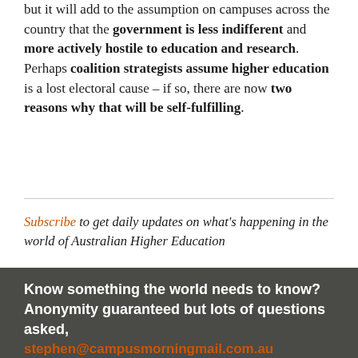but it will add to the assumption on campuses across the country that the government is less indifferent and more actively hostile to education and research. Perhaps coalition strategists assume higher education is a lost electoral cause – if so, there are now two reasons why that will be self-fulfilling.
Subscribe to get daily updates on what's happening in the world of Australian Higher Education
Know something the world needs to know? Anonymity guaranteed but lots of questions asked, stephen@campusmorningmail.com.au